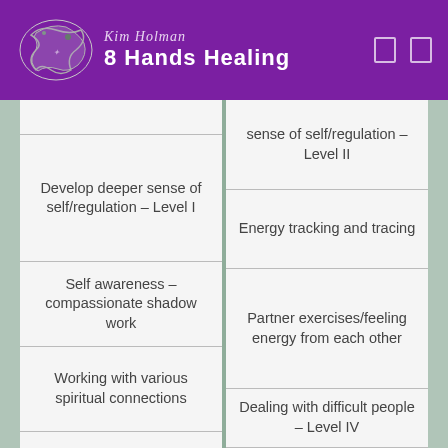[Figure (logo): Kim Holman 8 Hands Healing logo with decorative dragon/serpent illustration on purple header background]
| Develop deeper sense of self/regulation – Level I | sense of self/regulation – Level II |
| Self awareness – compassionate shadow work | Energy tracking and tracing |
| Working with various spiritual connections | Partner exercises/feeling energy from each other |
|  | Dealing with difficult people – Level IV |